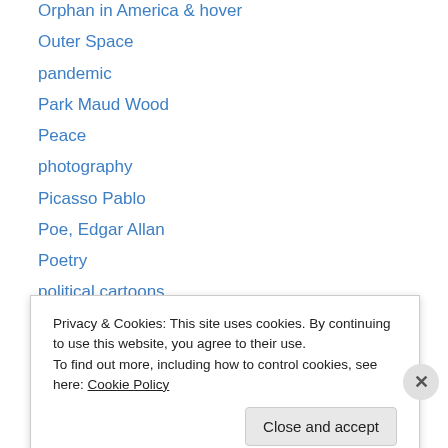Orphan in America & hover
Outer Space
pandemic
Park Maud Wood
Peace
photography
Picasso Pablo
Poe, Edgar Allan
Poetry
political cartoons
politics
Post, Emily
Postcard
preschool
Privacy & Cookies: This site uses cookies. By continuing to use this website, you agree to their use.
To find out more, including how to control cookies, see here: Cookie Policy
Close and accept